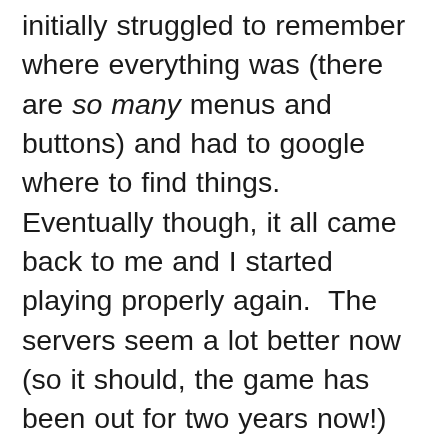initially struggled to remember where everything was (there are so many menus and buttons) and had to google where to find things.  Eventually though, it all came back to me and I started playing properly again.  The servers seem a lot better now (so it should, the game has been out for two years now!) but online isn't as fun any more because it doesn't have many active players.  Luckily that isn't an imperative part of it so it was still fun.  So much so I lost about twelve hours (probably more) of my weekend to it.  That's also another reason why I didn't blog – I knew I should, but I just couldn't switch off the game.  I found ways to make heaps of money so it was a lot of